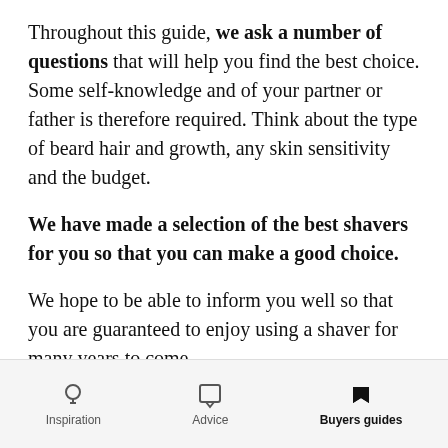Throughout this guide, we ask a number of questions that will help you find the best choice. Some self-knowledge and of your partner or father is therefore required. Think about the type of beard hair and growth, any skin sensitivity and the budget.
We have made a selection of the best shavers for you so that you can make a good choice.
We hope to be able to inform you well so that you are guaranteed to enjoy using a shaver for many years to come.
Inspiration  Advice  Buyers guides